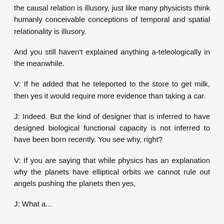the causal relation is illusory, just like many physicists think humanly conceivable conceptions of temporal and spatial relationality is illusory.
And you still haven't explained anything a-teleologically in the meanwhile.
V: If he added that he teleported to the store to get milk, then yes it would require more evidence than taking a car.
J: Indeed. But the kind of designer that is inferred to have designed biological functional capacity is not inferred to have been born recently. You see why, right?
V: If you are saying that while physics has an explanation why the planets have elliptical orbits we cannot rule out angels pushing the planets then yes,
J: What a...